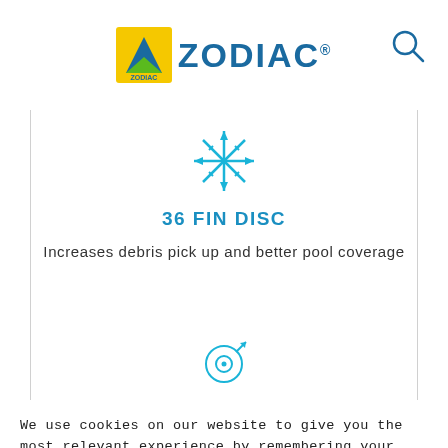[Figure (logo): Zodiac brand logo with blue text and yellow/green Z icon]
[Figure (illustration): Blue snowflake/radial arrows icon representing 36 Fin Disc]
36 FIN DISC
Increases debris pick up and better pool coverage
[Figure (illustration): Blue circular target/scope icon]
We use cookies on our website to give you the most relevant experience by remembering your preferences and repeat visits. By clicking “Accept All”, you consent to the use of ALL the cookies. However, you may visit "Cookie Settings" to provide a controlled consent.